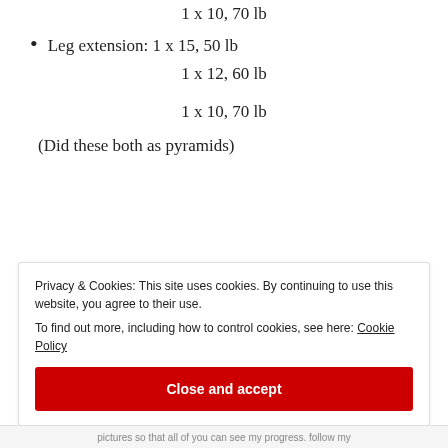1 x 10, 70 lb
Leg extension: 1 x 15, 50 lb
1 x 12, 60 lb
1 x 10, 70 lb
(Did these both as pyramids)
Privacy & Cookies: This site uses cookies. By continuing to use this website, you agree to their use.
To find out more, including how to control cookies, see here: Cookie Policy
Close and accept
pictures so that all of you can see my progress. follow my